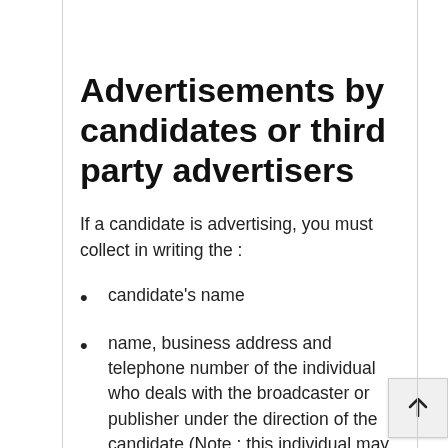Advertisements by candidates or third party advertisers
If a candidate is advertising, you must collect in writing the :
candidate's name
name, business address and telephone number of the individual who deals with the broadcaster or publisher under the direction of the candidate (Note : this individual may be the candidate themselves)